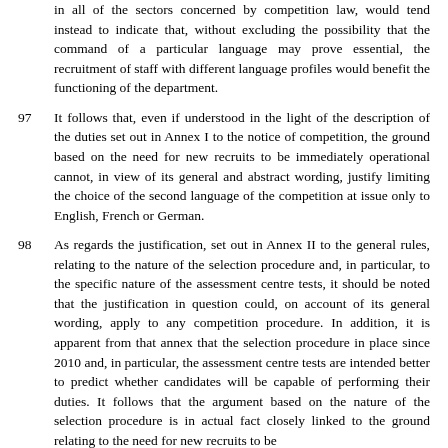in all of the sectors concerned by competition law, would tend instead to indicate that, without excluding the possibility that the command of a particular language may prove essential, the recruitment of staff with different language profiles would benefit the functioning of the department.
97	It follows that, even if understood in the light of the description of the duties set out in Annex I to the notice of competition, the ground based on the need for new recruits to be immediately operational cannot, in view of its general and abstract wording, justify limiting the choice of the second language of the competition at issue only to English, French or German.
98	As regards the justification, set out in Annex II to the general rules, relating to the nature of the selection procedure and, in particular, to the specific nature of the assessment centre tests, it should be noted that the justification in question could, on account of its general wording, apply to any competition procedure. In addition, it is apparent from that annex that the selection procedure in place since 2010 and, in particular, the assessment centre tests are intended better to predict whether candidates will be capable of performing their duties. It follows that the argument based on the nature of the selection procedure is in actual fact closely linked to the ground relating to the need for new recruits to be